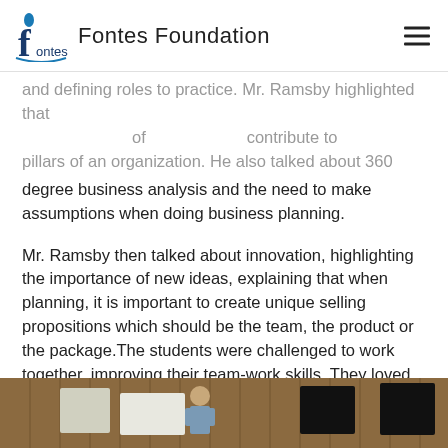Fontes Foundation
and defining roles to practice. Mr. Ramsby highlighted that contribute to pillars of an organization. He also talked about 360 degree business analysis and the need to make assumptions when doing business planning.
Mr. Ramsby then talked about innovation, highlighting the importance of new ideas, explaining that when planning, it is important to create unique selling propositions which should be the team, the product or the package.The students were challenged to work together, improving their team-work skills. They loved the workshop and asked to have Mr. Rambsy back at the centre for other business management and capacity building workshops!
[Figure (photo): A man standing and presenting in a room with wooden walls, with presentation boards visible, during a workshop session.]